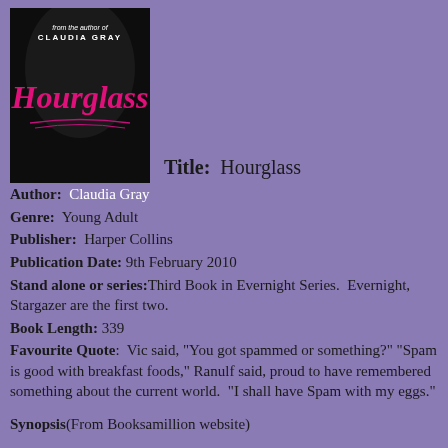[Figure (photo): Book cover of 'Hourglass' by Claudia Gray, showing a dark background with pink decorative script title and author name at top.]
Title:  Hourglass
Author:  Claudia Gray
Genre:  Young Adult
Publisher:  Harper Collins
Publication Date:  9th February 2010
Stand alone or series:Third Book in Evernight Series.  Evernight, Stargazer are the first two.
Book Length:  339
Favourite Quote:  Vic said, "You got spammed or something?" "Spam is good with breakfast foods," Ranulf said, proud to have remembered something about the current world.  "I shall have Spam with my eggs."
Synopsis(From Booksamillion website)
Bianca will risk everything to be with Lucas.
After escaping from Evernight Academy, the vampire boarding school where they met, Bianca and Lucas take refuge with Black Cross, a fanatical group of vampire hunters. Bianca must hide her